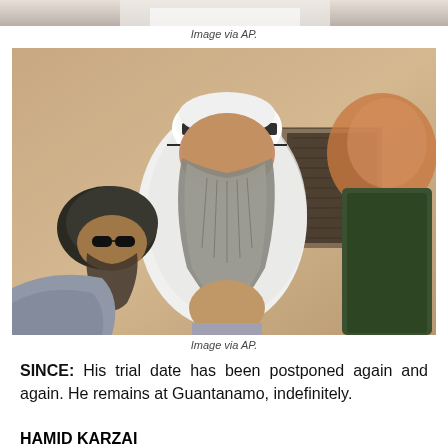[Figure (photo): Top portion of a photograph partially cropped at the top of the page showing a person in a white shirt]
Image via AP.
[Figure (illustration): Courtroom sketch showing a man with a long gray beard wearing a white robe and headband with sunglasses, seated among others in a courtroom setting]
Image via AP.
SINCE: His trial date has been postponed again and again. He remains at Guantanamo, indefinitely.
HAMID KARZAI